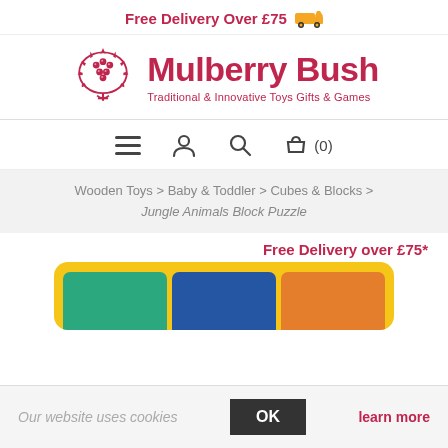Free Delivery Over £75 🚚
[Figure (logo): Mulberry Bush logo — stylized berry bush illustration in pink/red with text 'Mulberry Bush' and subtitle 'Traditional & Innovative Toys Gifts & Games']
Navigation icons: menu, user, search, basket (0)
Wooden Toys > Baby & Toddler > Cubes & Blocks > Jungle Animals Block Puzzle
Free Delivery over £75*
[Figure (photo): Jungle Animals Block Puzzle product image showing colorful puzzle blocks on a yellow background]
Our website uses cookies  OK  learn more